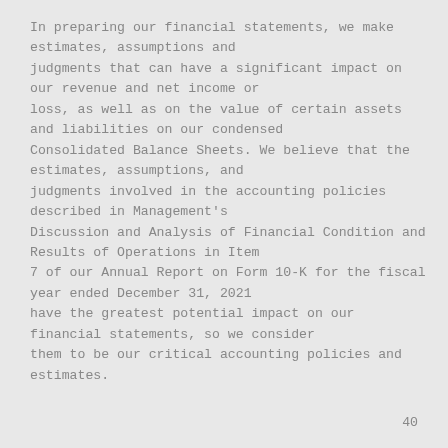In preparing our financial statements, we make estimates, assumptions and judgments that can have a significant impact on our revenue and net income or loss, as well as on the value of certain assets and liabilities on our condensed Consolidated Balance Sheets. We believe that the estimates, assumptions, and judgments involved in the accounting policies described in Management's Discussion and Analysis of Financial Condition and Results of Operations in Item 7 of our Annual Report on Form 10-K for the fiscal year ended December 31, 2021 have the greatest potential impact on our financial statements, so we consider them to be our critical accounting policies and estimates.
40